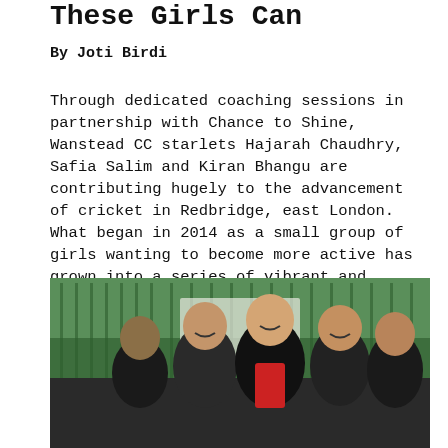These Girls Can
By Joti Birdi
Through dedicated coaching sessions in partnership with Chance to Shine, Wanstead CC starlets Hajarah Chaudhry, Safia Salim and Kiran Bhangu are contributing hugely to the advancement of cricket in Redbridge, east London. What began in 2014 as a small group of girls wanting to become more active has grown into a series of vibrant and popular sessions bringing cricket to local schoolkids in the area.
[Figure (photo): Group of young women smiling outdoors near a green fence/sports court backdrop]